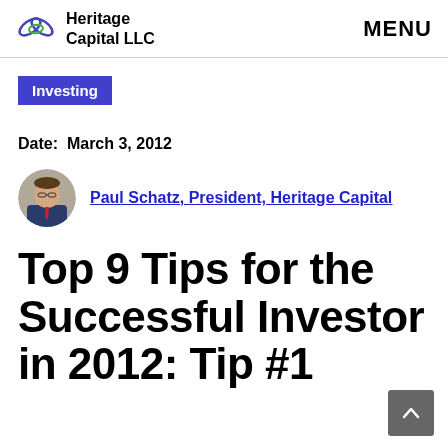Heritage Capital LLC | MENU
Investing
Date:  March 3, 2012
Paul Schatz, President, Heritage Capital
Top 9 Tips for the Successful Investor in 2012: Tip #1